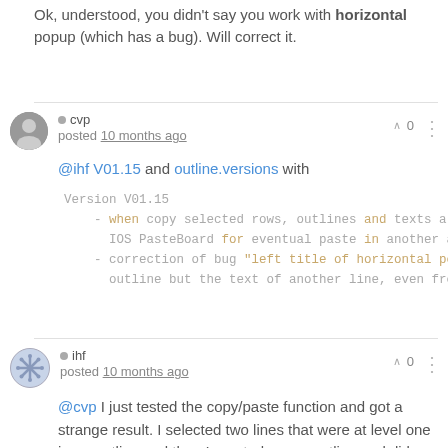Ok, understood, you didn't say you work with horizontal popup (which has a bug). Will correct it.
cvp
posted 10 months ago
@ihf V01.15 and outline.versions with
Version V01.15
  - when copy selected rows, outlines and texts are IOS PasteBoard for eventual paste in another ap
  - correction of bug "left title of horizontal pop outline but the text of another line, even fro
ihf
posted 10 months ago
@cvp I just tested the copy/paste function and got a strange result. I selected two lines that were at level one in an outline and then I created a new outline and did a paste. I got the two lines, the first at level one and the second at V01.15